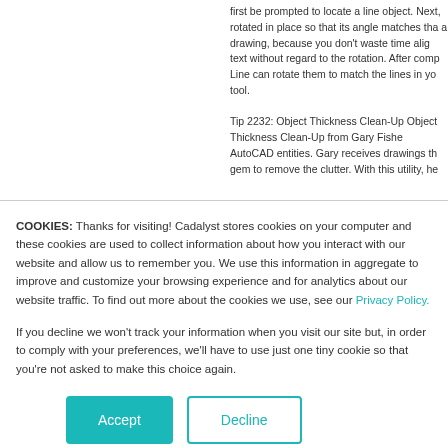first be prompted to locate a line object. Next, rotated in place so that its angle matches tha a drawing, because you don't waste time alig text without regard to the rotation. After comp Line can rotate them to match the lines in yo tool.
Tip 2232: Object Thickness Clean-Up Object Thickness Clean-Up from Gary Fishe AutoCAD entities. Gary receives drawings th gem to remove the clutter. With this utility, he
COOKIES: Thanks for visiting! Cadalyst stores cookies on your computer and these cookies are used to collect information about how you interact with our website and allow us to remember you. We use this information in aggregate to improve and customize your browsing experience and for analytics about our website traffic. To find out more about the cookies we use, see our Privacy Policy.
If you decline we won't track your information when you visit our site but, in order to comply with your preferences, we'll have to use just one tiny cookie so that you're not asked to make this choice again.